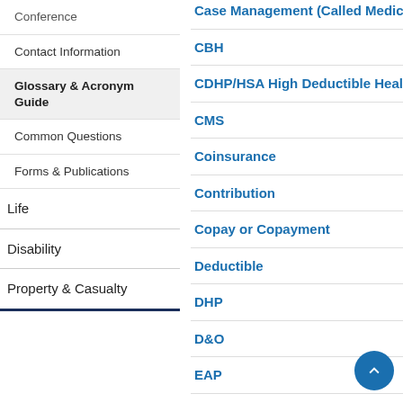Conference
Contact Information
Glossary & Acronym Guide
Common Questions
Forms & Publications
Life
Disability
Property & Casualty
Case Management (Called Medica...
CBH
CDHP/HSA High Deductible Health...
CMS
Coinsurance
Contribution
Copay or Copayment
Deductible
DHP
D&O
EAP